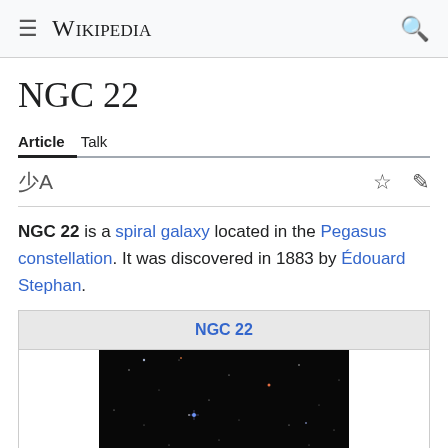Wikipedia
NGC 22
Article  Talk
NGC 22 is a spiral galaxy located in the Pegasus constellation. It was discovered in 1883 by Édouard Stephan.
| NGC 22 |
| --- |
| [image of galaxy field] |
NGC 22